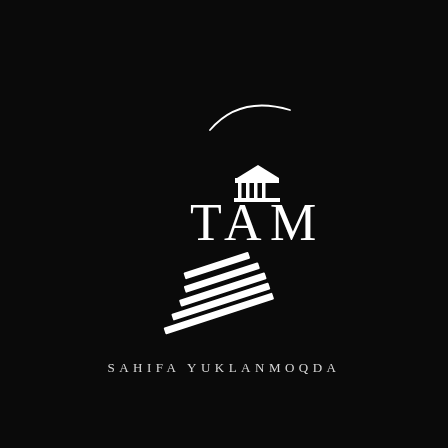[Figure (logo): TAM logo on black background: a white arc/crescent shape at top, text 'TAM' in serif with a classical building/temple icon above the letter A, and white staircase steps below the text]
SAHIFA YUKLANMOQDA